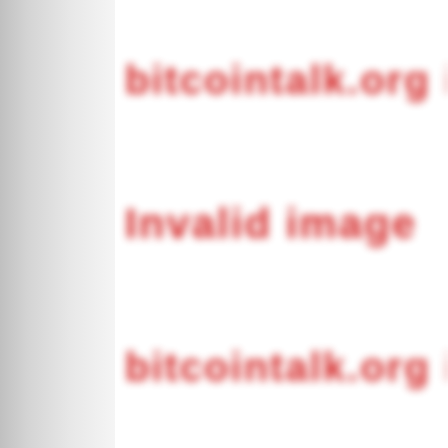[Figure (other): Blurred red text showing a bitcointalk.org image proxy error message. The text reads 'bitcointalk.org image proxy' at the top, 'Invalid image' in the middle, and 'bitcointalk.org image proxy' again at the bottom. All text is heavily blurred and rendered in red on a white/grey background.]